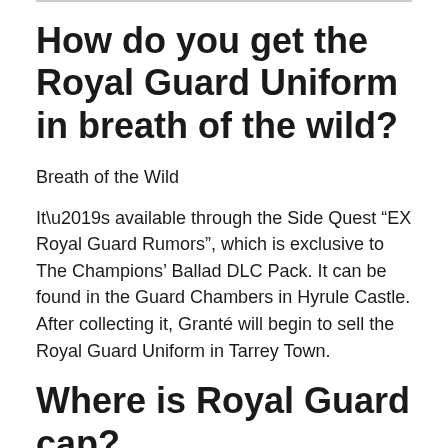How do you get the Royal Guard Uniform in breath of the wild?
Breath of the Wild
It’s available through the Side Quest “EX Royal Guard Rumors”, which is exclusive to The Champions’ Ballad DLC Pack. It can be found in the Guard Chambers in Hyrule Castle. After collecting it, Granté will begin to sell the Royal Guard Uniform in Tarrey Town.
Where is Royal Guard cap?
The Royal Cap is located on the second floor